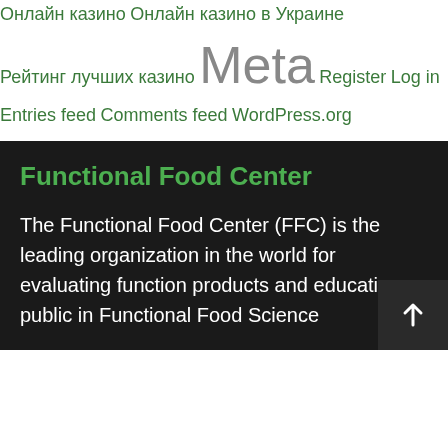Онлайн казино
Онлайн казино в Украине
Рейтинг лучших казино
Meta
Register
Log in
Entries feed
Comments feed
WordPress.org
Functional Food Center
The Functional Food Center (FFC) is the leading organization in the world for evaluating function products and educating public in Functional Food Science